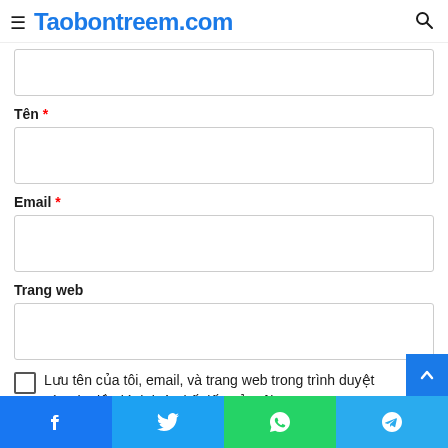Taobontreem.com
Tên *
Email *
Trang web
Lưu tên của tôi, email, và trang web trong trình duyệt này cho lần bình luận kế tiếp của tôi.